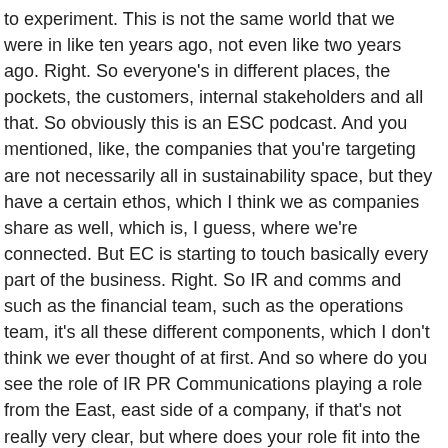to experiment. This is not the same world that we were in like ten years ago, not even like two years ago. Right. So everyone's in different places, the pockets, the customers, internal stakeholders and all that. So obviously this is an ESC podcast. And you mentioned, like, the companies that you're targeting are not necessarily all in sustainability space, but they have a certain ethos, which I think we as companies share as well, which is, I guess, where we're connected. But EC is starting to touch basically every part of the business. Right. So IR and comms and such as the financial team, such as the operations team, it's all these different components, which I don't think we ever thought of at first. And so where do you see the role of IR PR Communications playing a role from the East, east side of a company, if that's not really very clear, but where does your role fit into the EC world?
[00:09:40] Alyssa: I think a lot of companies are doing really great work already and ESG has become this phrase or acronym